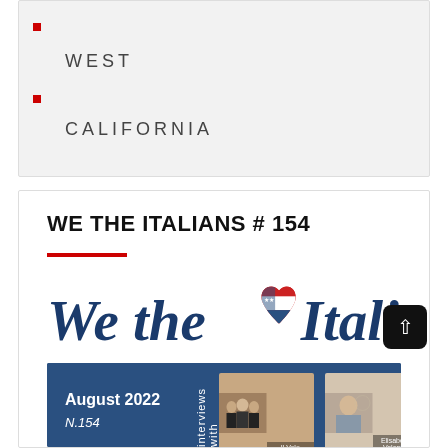WEST
CALIFORNIA
WE THE ITALIANS # 154
[Figure (logo): We the Italians logo with stylized script text and American-Italian flag heart icon in red, white, green, and blue colors]
[Figure (photo): We the Italians magazine cover, August 2022 N.154, dark blue background, with text 'interviews with', photo of Il Volo (three men in suits) and photo of Elisabetta Valentini]